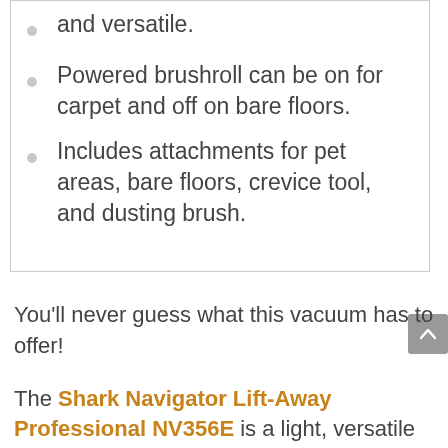and versatile.
Powered brushroll can be on for carpet and off on bare floors.
Includes attachments for pet areas, bare floors, crevice tool, and dusting brush.
You’ll never guess what this vacuum has to offer!
The Shark Navigator Lift-Away Professional NV356E is a light, versatile